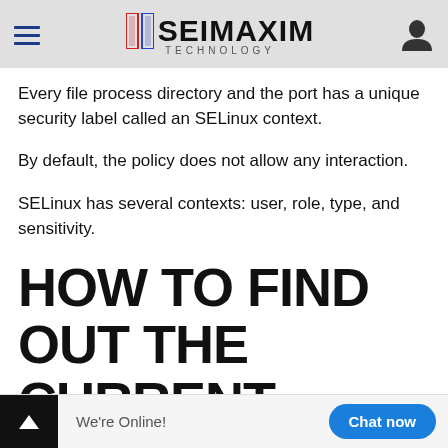SEIMAXIM TECHNOLOGY
Every file process directory and the port has a unique security label called an SELinux context.
By default, the policy does not allow any interaction.
SELinux has several contexts: user, role, type, and sensitivity.
HOW TO FIND OUT THE CURRENT SELINUX POLICY?